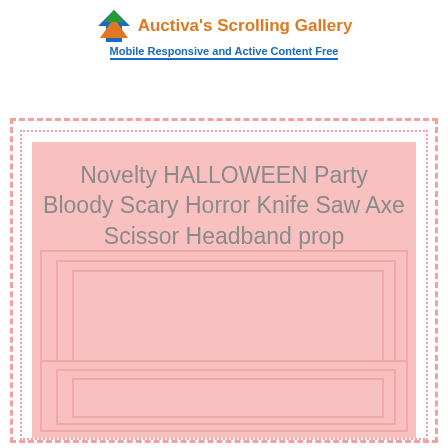[Figure (logo): Auctiva's Scrolling Gallery logo with blue and orange arrow graphic, orange bold title text 'Auctiva's Scrolling Gallery', blue subtitle 'Mobile Responsive and Active Content Free']
Novelty HALLOWEEN Party Bloody Scary Horror Knife Saw Axe Scissor Headband prop
[Figure (other): Nested pink placeholder image boxes representing a scrolling gallery image area with product photos]